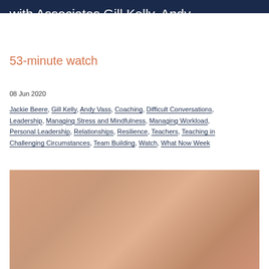with Associates Gill Kelly, Andy Vass and Jackie Beere.
53-minute watch
08 Jun 2020
Jackie Beere, Gill Kelly, Andy Vass, Coaching, Difficult Conversations, Leadership, Managing Stress and Mindfulness, Managing Workload, Personal Leadership, Relationships, Resilience, Teachers, Teaching in Challenging Circumstances, Team Building, Watch, What Now Week
[Figure (photo): Warm copper/rose gold toned photo or graphic, partially visible at the bottom of the page]